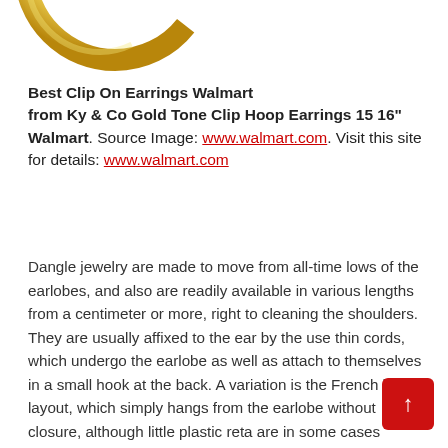[Figure (photo): Partial view of a gold hoop earring against a white background, cropped at top-left corner of the page.]
Best Clip On Earrings Walmart from Ky & Co Gold Tone Clip Hoop Earrings 15 16" Walmart. Source Image: www.walmart.com. Visit this site for details: www.walmart.com
Dangle jewelry are made to move from all-time lows of the earlobes, and also are readily available in various lengths from a centimeter or more, right to cleaning the shoulders. They are usually affixed to the ear by the use thin cords, which undergo the earlobe as well as attach to themselves in a small hook at the back. A variation is the French hook layout, which simply hangs from the earlobe without closure, although little plastic reta are in some cases utilized at a time of French hooks.